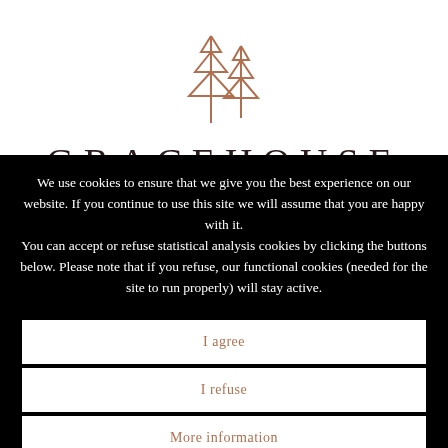[Figure (logo): Gracehouse decorative tree/pine logo mark in copper/rose-gold color, two stylized geometric trees]
GRACEHOUSE
We use cookies to ensure that we give you the best experience on our website. If you continue to use this site we will assume that you are happy with it. You can accept or refuse statistical analysis cookies by clicking the buttons below. Please note that if you refuse, our functional cookies (needed for the site to run properly) will stay active.
I agree
I refuse
More information